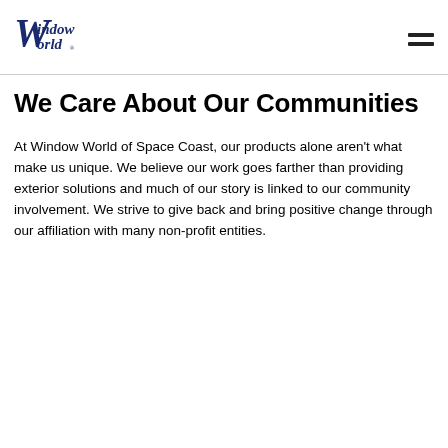Window World logo and navigation
We Care About Our Communities
At Window World of Space Coast, our products alone aren't what make us unique. We believe our work goes farther than providing exterior solutions and much of our story is linked to our community involvement. We strive to give back and bring positive change through our affiliation with many non-profit entities.